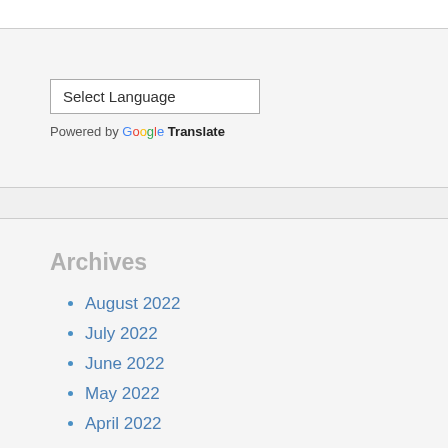[Figure (screenshot): Google Translate widget with a 'Select Language' dropdown selector]
Powered by Google Translate
Archives
August 2022
July 2022
June 2022
May 2022
April 2022